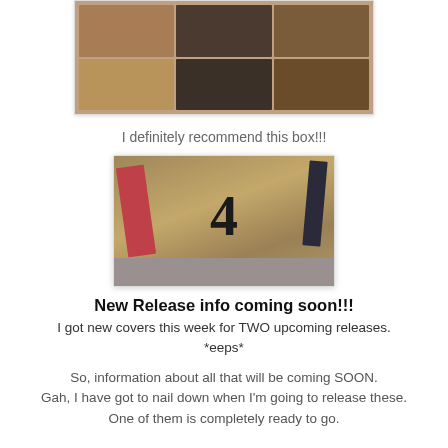[Figure (photo): Collage of leather journal/wallet products arranged in a 3x2 grid]
I definitely recommend this box!!!
[Figure (photo): Photo of books and fabric on a wooden surface with a large number 4 in the center]
New Release info coming soon!!!
I got new covers this week for TWO upcoming releases. *eeps*
So, information about all that will be coming SOON. Gah, I have got to nail down when I'm going to release these. One of them is completely ready to go.